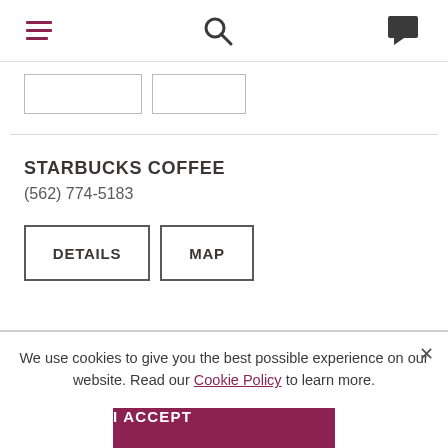Navigation header with hamburger menu, search icon, and chat icon
STARBUCKS COFFEE
(562) 774-5183
DETAILS | MAP
We use cookies to give you the best possible experience on our website. Read our Cookie Policy to learn more.
I ACCEPT